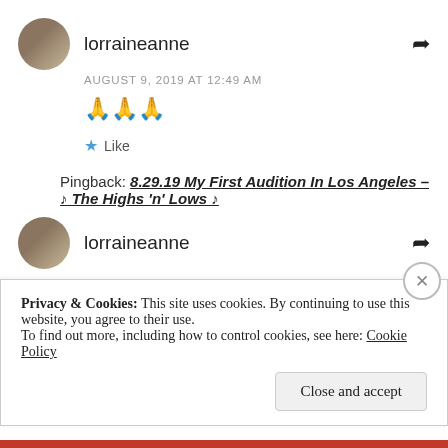lorraineanne — AUGUST 9, 2019 AT 12:49 AM
🙏🙏🙏
★ Like
Pingback: 8.29.19 My First Audition In Los Angeles – ♪ The Highs 'n' Lows ♪
lorraineanne
Privacy & Cookies: This site uses cookies. By continuing to use this website, you agree to their use. To find out more, including how to control cookies, see here: Cookie Policy
Close and accept